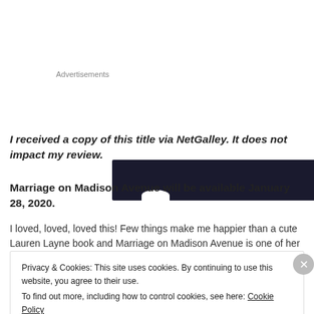Advertisements
[Figure (other): Dark advertisement banner with a white bump shape at the bottom center]
I received a copy of this title via NetGalley. It does not impact my review.
Marriage on Madison Avenue will be available January 28, 2020.
I loved, loved, loved this! Few things make me happier than a cute Lauren Layne book and Marriage on Madison Avenue is one of her
Privacy & Cookies: This site uses cookies. By continuing to use this website, you agree to their use.
To find out more, including how to control cookies, see here: Cookie Policy
Close and accept